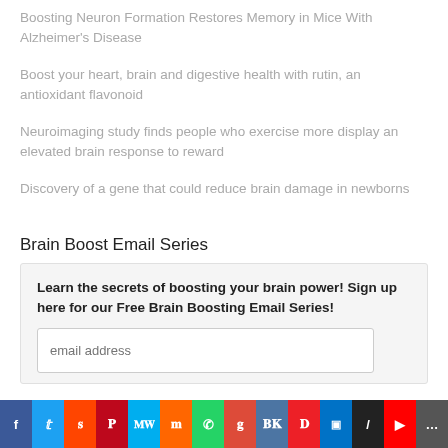Boosting Neuron Formation Restores Memory in Mice With Alzheimer's Disease
Boost your heart, brain and digestive health with rutin, an antioxidant flavonoid
Neuroimaging study finds people who exercise more display an elevated brain response to reward
Discovery of a gene that could reduce brain damage in newborns
Brain Boost Email Series
Learn the secrets of boosting your brain power! Sign up here for our Free Brain Boosting Email Series!
email address
[Figure (infographic): Social media sharing bar with icons for Facebook, Twitter, Reddit, Pinterest, MeWe, Mix, WhatsApp, Google, VK, Pocket, Outlook, Alexa, YouTube, and more.]